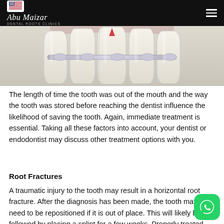Abu Maizar DENTAL ROOTS CLINICS
[Figure (illustration): Dental illustration showing upper front teeth with a metal splint/wire bar connecting them, with a small red triangular element at the top center between two central incisors.]
The length of time the tooth was out of the mouth and the way the tooth was stored before reaching the dentist influence the likelihood of saving the tooth. Again, immediate treatment is essential. Taking all these factors into account, your dentist or endodontist may discuss other treatment options with you.
Root Fractures
A traumatic injury to the tooth may result in a horizontal root fracture. After the diagnosis has been made, the tooth may need to be repositioned if it is out of place. This will likely be followed by placing a splint for a few weeks. Properly treated, teeth with horizontal root fractures usually have a good prognosis.
[Figure (logo): WhatsApp button icon, green rounded square with white phone handset logo]